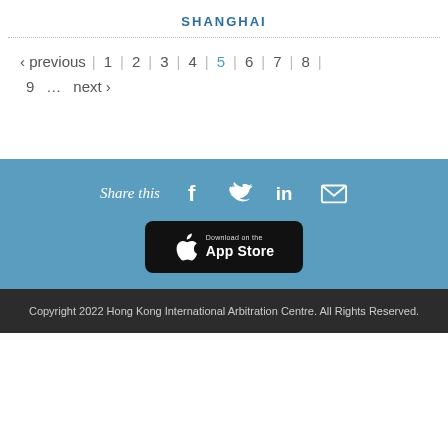SHANGHAI
‹ previous | 1 | 2 | 3 | 4 | 5 | 6 | 7 | 8 | 9 … next ›
[Figure (infographic): Share this section with icons for Facebook, Twitter, LinkedIn, email, and an App Store download button]
Copyright 2022 Hong Kong International Arbitration Centre. All Rights Reserved.